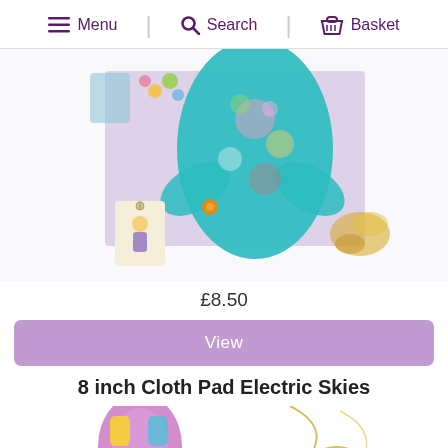Menu | Search | Basket
[Figure (photo): A teal/blue floral patterned cloth menstrual pad displayed on a purple/lavender cloth background with decorative accessories including a small gift tag and gold decorations]
£8.50
View
8 inch Cloth Pad Electric Skies
[Figure (photo): Partial view of another cloth pad product in purple and yellow colors]